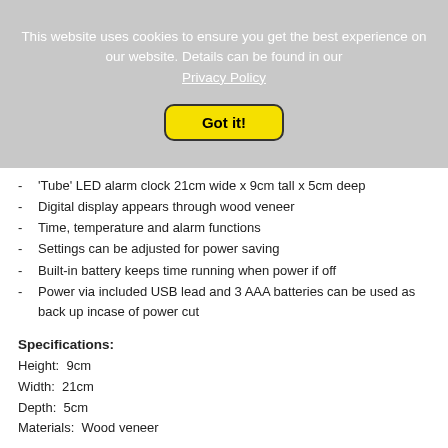This website uses cookies to ensure you get the best experience on our website. Details can be found in our Privacy Policy
Got it!
'Tube' LED alarm clock 21cm wide x 9cm tall x 5cm deep
Digital display appears through wood veneer
Time, temperature and alarm functions
Settings can be adjusted for power saving
Built-in battery keeps time running when power if off
Power via included USB lead and 3 AAA batteries can be used as back up incase of power cut
Specifications:
Height:  9cm
Width:  21cm
Depth:  5cm
Materials:  Wood veneer
Customer Reviews